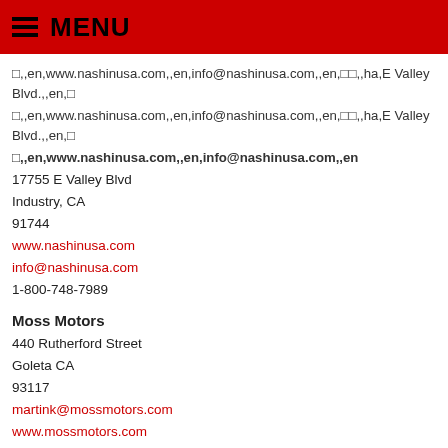MENU
□,,en,www.nashinusa.com,,en,info@nashinusa.com,,en,□□,,ha,E Valley Blvd.,,en,□
□,,en,www.nashinusa.com,,en,info@nashinusa.com,,en,□□,,ha,E Valley Blvd.,,en,□
□,,en,www.nashinusa.com,,en,info@nashinusa.com,,en
17755 E Valley Blvd
Industry, CA
91744
www.nashinusa.com
info@nashinusa.com
1-800-748-7989
Moss Motors
440 Rutherford Street
Goleta CA
93117
martink@mossmotors.com
www.mossmotors.com